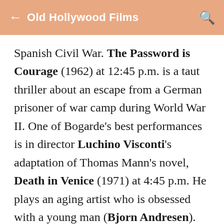Old Hollywood Films
Spanish Civil War. The Password is Courage (1962) at 12:45 p.m. is a taut thriller about an escape from a German prisoner of war camp during World War II. One of Bogarde's best performances is in director Luchino Visconti's adaptation of Thomas Mann's novel, Death in Venice (1971) at 4:45 p.m. He plays an aging artist who is obsessed with a young man (Bjorn Andresen). Primetime Lineup: TCM is featuring movies about artists each Monday in March. This week's selections are the little seen comedy, The Art of